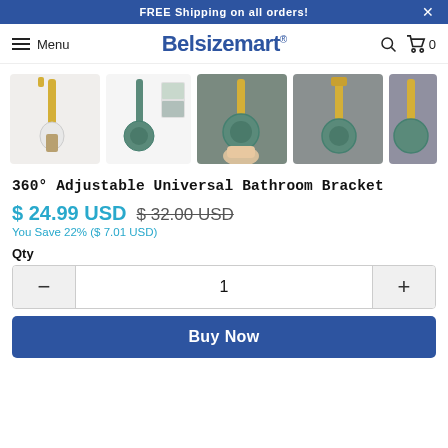FREE Shipping on all orders!  ×
Menu  Belsizemart®  🔍  🛒 0
[Figure (photo): Row of five product thumbnail photos showing a 360° adjustable universal bathroom shower bracket in white/gold and teal/gold colorways, mounted on walls and being adjusted by hand.]
360° Adjustable Universal Bathroom Bracket
$ 24.99 USD  $ 32.00 USD (strikethrough)
You Save 22% ($ 7.01 USD)
Qty
1
Buy Now